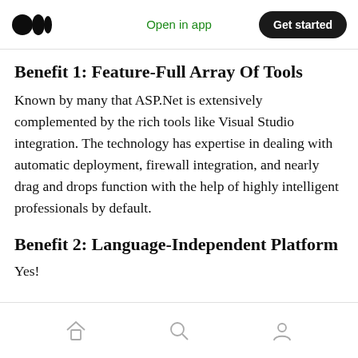Open in app  Get started
Benefit 1: Feature-Full Array Of Tools
Known by many that ASP.Net is extensively complemented by the rich tools like Visual Studio integration. The technology has expertise in dealing with automatic deployment, firewall integration, and nearly drag and drops function with the help of highly intelligent professionals by default.
Benefit 2: Language-Independent Platform
Yes!